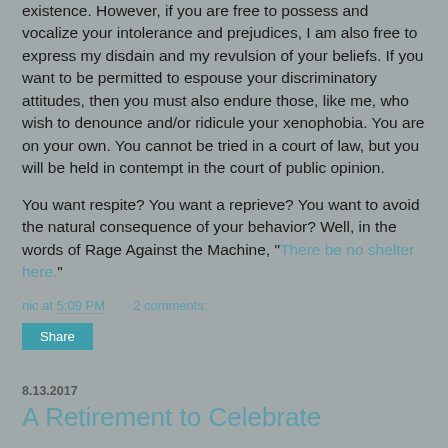existence. However, if you are free to possess and vocalize your intolerance and prejudices, I am also free to express my disdain and my revulsion of your beliefs. If you want to be permitted to espouse your discriminatory attitudes, then you must also endure those, like me, who wish to denounce and/or ridicule your xenophobia. You are on your own. You cannot be tried in a court of law, but you will be held in contempt in the court of public opinion.
You want respite? You want a reprieve? You want to avoid the natural consequence of your behavior? Well, in the words of Rage Against the Machine, "There be no shelter here."
nic at 5:09 PM    2 comments:
Share
8.13.2017
A Retirement to Celebrate
A friend of mine is retiring. This friend is a big reason I